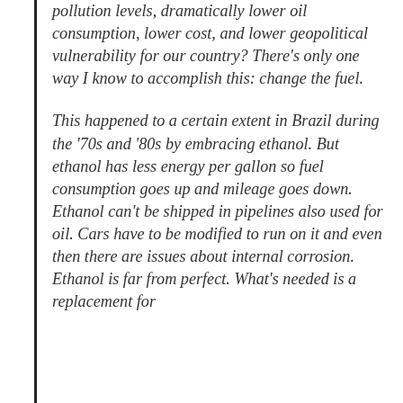pollution levels, dramatically lower oil consumption, lower cost, and lower geopolitical vulnerability for our country? There's only one way I know to accomplish this: change the fuel.
This happened to a certain extent in Brazil during the '70s and '80s by embracing ethanol. But ethanol has less energy per gallon so fuel consumption goes up and mileage goes down. Ethanol can't be shipped in pipelines also used for oil. Cars have to be modified to run on it and even then there are issues about internal corrosion. Ethanol is far from perfect. What's needed is a replacement for